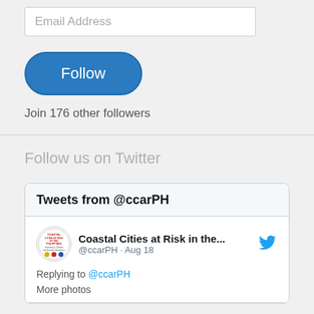Email Address
Follow
Join 176 other followers
Follow us on Twitter
Tweets from @ccarPH
Coastal Cities at Risk in the...
@ccarPH · Aug 18
Replying to @ccarPH
More photos